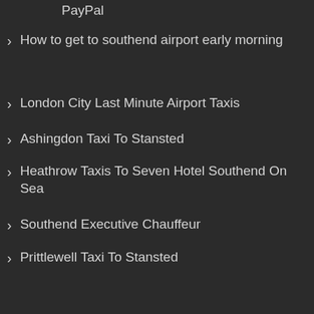PayPal
How to get to southend airport early morning
London City Last Minute Airport Taxis
Ashingdon Taxi To Stansted
Heathrow Taxis To Seven Hotel Southend On Sea
Southend Executive Chauffeur
Prittlewell Taxi To Stansted
Categories
Select Category
Please follow & like us :)